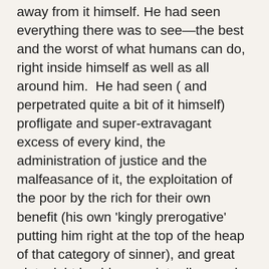away from it himself. He had seen everything there was to see—the best and the worst of what humans can do, right inside himself as well as all around him.  He had seen ( and perpetrated quite a bit of it himself) profligate and super-extravagant excess of every kind, the administration of justice and the malfeasance of it, the exploitation of the poor by the rich for their own benefit (his own 'kingly prerogative' putting him right at the top of the heap of that category of sinner), and great piety right beside complete disregard for any claim of God or recognition that there is any deity to whom we will give an account. (Again, we see him meeting God face to face in the dedication of the Temple and allowing all kinds of pagan shrines to be built in Jerusalem cheek by jowel with Yahweh's temple to please his foreign wives.) His critique is a